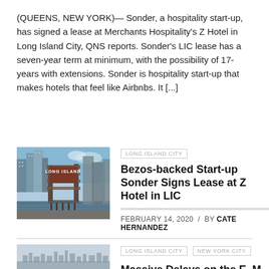(QUEENS, NEW YORK)— Sonder, a hospitality start-up, has signed a lease at Merchants Hospitality's Z Hotel in Long Island City, QNS reports. Sonder's LIC lease has a seven-year term at minimum, with the possibility of 17-years with extensions. Sonder is hospitality start-up that makes hotels that feel like Airbnbs. It [...]
[Figure (photo): Photo of Long Island City waterfront with a metal structure bearing a 'LONG ISLAND' sign, skyscrapers and water in the background]
LONG ISLAND CITY
Bezos-backed Start-up Sonder Signs Lease at Z Hotel in LIC
FEBRUARY 14, 2020 / BY CATE HERNANDEZ
LONG ISLAND CITY  NEW YORK CITY
Massive Delays on the E, M
[Figure (photo): Photo of a skyline with hazy sky, bottom of a second article card]